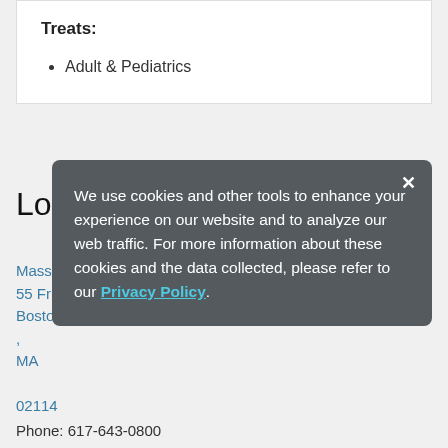Treats:
Adult & Pediatrics
Locations
Mass General Pathology
55 Fruit St
Boston
,
MA

02114
Phone: 617-643-0800
We use cookies and other tools to enhance your experience on our website and to analyze our web traffic. For more information about these cookies and the data collected, please refer to our Privacy Policy.